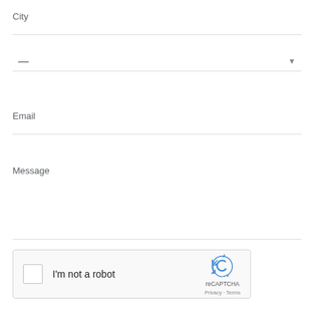City
—
Email
Message
[Figure (other): reCAPTCHA widget with checkbox labeled 'I'm not a robot', reCAPTCHA logo, and Privacy/Terms links]